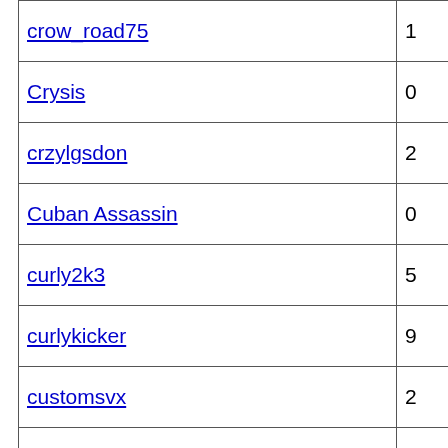| Username | Count |
| --- | --- |
| crow_road75 | 1 |
| Crysis | 0 |
| crzylgsdon | 2 |
| Cuban Assassin | 0 |
| curly2k3 | 5 |
| curlykicker | 9 |
| customsvx | 2 |
| Dalamar | 0 |
| DallasSVX92 | 0 |
| dallasvx | 8 |
| daluvabull | 0 |
| Danish_svx | 0 |
| dannal1113 | 0 |
| dannmarr | 30 |
| danrowski | 0 |
| DanSVX94 | 59 |
| dan_j_b | 27 |
| DarknessofDeath | 0 |
| Darksied-X | 175 |